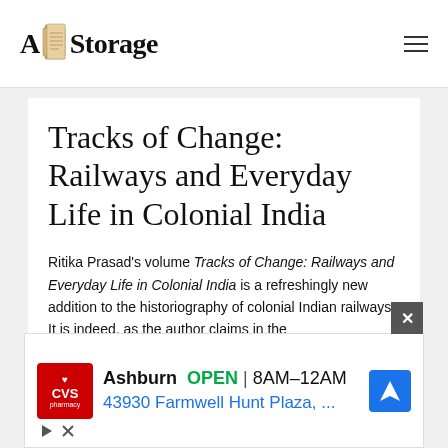A[logo]Storage
Tracks of Change: Railways and Everyday Life in Colonial India
Ritika Prasad's volume Tracks of Change: Railways and Everyday Life in Colonial India is a refreshingly new addition to the historiography of colonial Indian railways. It is indeed, as the author claims in the
[Figure (other): Advertisement: CVS Pharmacy Ashburn location, OPEN 8AM-12AM, 43930 Farmwell Hunt Plaza, with navigation icon]